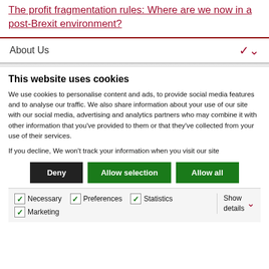The profit fragmentation rules: Where are we now in a post-Brexit environment?
About Us
This website uses cookies
We use cookies to personalise content and ads, to provide social media features and to analyse our traffic. We also share information about your use of our site with our social media, advertising and analytics partners who may combine it with other information that you've provided to them or that they've collected from your use of their services.
If you decline, We won't track your information when you visit our site
Deny | Allow selection | Allow all
Necessary | Preferences | Statistics | Marketing | Show details